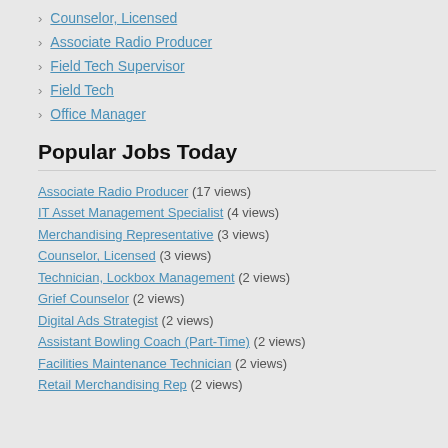Counselor, Licensed
Associate Radio Producer
Field Tech Supervisor
Field Tech
Office Manager
Popular Jobs Today
Associate Radio Producer (17 views)
IT Asset Management Specialist (4 views)
Merchandising Representative (3 views)
Counselor, Licensed (3 views)
Technician, Lockbox Management (2 views)
Grief Counselor (2 views)
Digital Ads Strategist (2 views)
Assistant Bowling Coach (Part-Time) (2 views)
Facilities Maintenance Technician (2 views)
Retail Merchandising Rep (2 views)